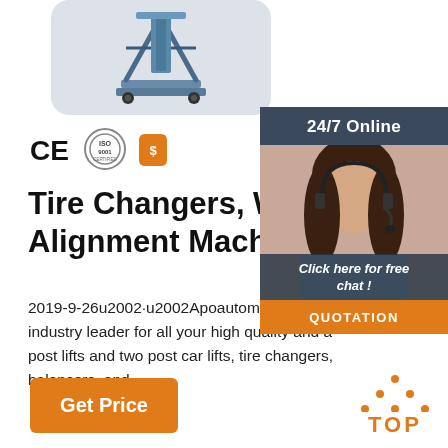[Figure (photo): Photo of a car lift / scissor lift machine on a gray rounded rectangle background]
[Figure (logo): CE mark, ISO 9001 badge, and Alibaba gold supplier badge certification icons]
Tire Changers, Wheel Balancers, Alignment Machines,
2019-9-26u2002·u2002Apoautomotive Equipment, industry leader for all your high quality and affordable post lifts and two post car lifts, tire changers, wheel balancers, and …
[Figure (screenshot): Right sidebar with '24/7 Online' header, customer service agent photo, 'Click here for free chat!' text, and orange QUOTATION button]
[Figure (logo): Orange TOP icon with dot pattern above text]
Get Price